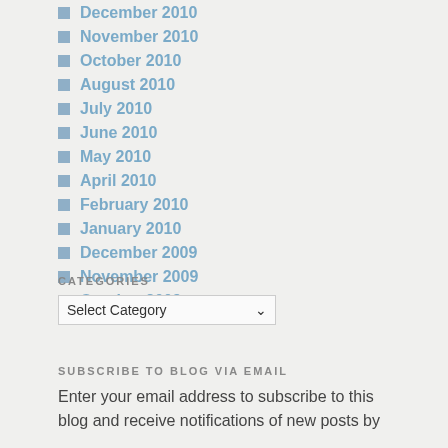December 2010
November 2010
October 2010
August 2010
July 2010
June 2010
May 2010
April 2010
February 2010
January 2010
December 2009
November 2009
October 2009
CATEGORIES
Select Category
SUBSCRIBE TO BLOG VIA EMAIL
Enter your email address to subscribe to this blog and receive notifications of new posts by